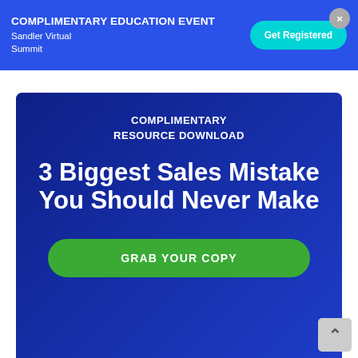COMPLIMENTARY EDUCATION EVENT
Sandler Virtual Summit
Get Registered
[Figure (infographic): Blue promotional banner card with dark blue overlay over a background photo of a person. Contains 'COMPLIMENTARY RESOURCE DOWNLOAD' subtitle and main headline '3 Biggest Sales Mistake You Should Never Make' with a green 'GRAB YOUR COPY' button.]
COMPLIMENTARY
RESOURCE DOWNLOAD
3 Biggest Sales Mistake You Should Never Make
GRAB YOUR COPY